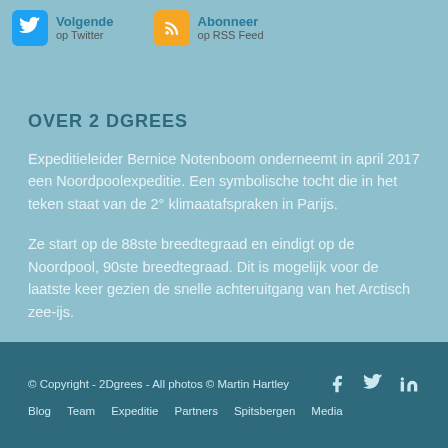[Figure (other): Social media buttons: Twitter follow button and RSS subscribe button at top of page]
OVER 2 DGREES
Expeditieleider Bernice Notenboom onderneemt in april 2017 een Noordpoolexpeditie. Een symbolische tocht die in het teken staat van de 2° klimaatafspraken in Parijs.
Ze start op de 88ste breedtegraad en eindigt op de Noordpool, 90ste breedtegraad. Dit is mogelijk voor de laatste keer gezien de snelle achteruitgang van het Arctisch zee-ijs.
© Copyright - 2Dgrees - All photos © Martin Hartley   Blog   Team   Expeditie   Partners   Spitsbergen   Media